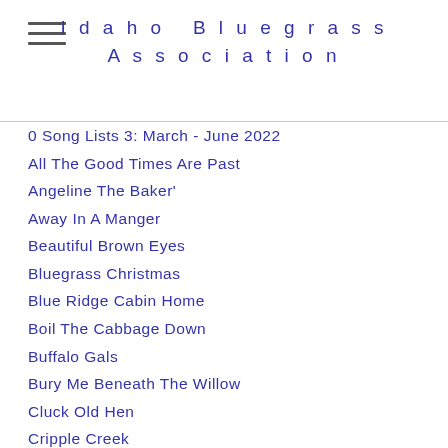Idaho Bluegrass Association
0 Song Lists 3: March - June 2022
All The Good Times Are Past
Angeline The Baker'
Away In A Manger
Beautiful Brown Eyes
Bluegrass Christmas
Blue Ridge Cabin Home
Boil The Cabbage Down
Buffalo Gals
Bury Me Beneath The Willow
Cluck Old Hen
Cripple Creek
Down The Road
Foggy Mountain Top
Gathering Flowers From The Hillside
I'll Fly Away
In The Pines
Leaning On The Everlasting Arms